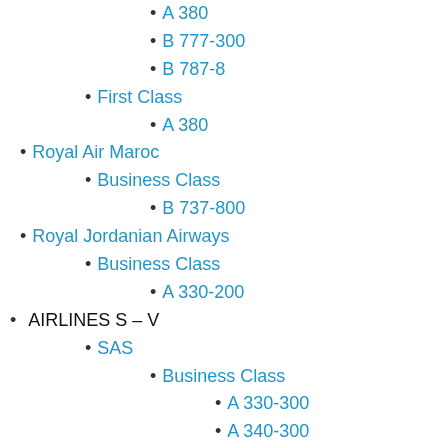A 380
B 777-300
B 787-8
First Class
A 380
Royal Air Maroc
Business Class
B 737-800
Royal Jordanian Airways
Business Class
A 330-200
AIRLINES S – V
SAS
Business Class
A 330-300
A 340-300